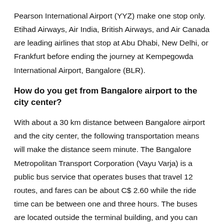Pearson International Airport (YYZ) make one stop only. Etihad Airways, Air India, British Airways, and Air Canada are leading airlines that stop at Abu Dhabi, New Delhi, or Frankfurt before ending the journey at Kempegowda International Airport, Bangalore (BLR).
How do you get from Bangalore airport to the city center?
With about a 30 km distance between Bangalore airport and the city center, the following transportation means will make the distance seem minute. The Bangalore Metropolitan Transport Corporation (Vayu Varja) is a public bus service that operates buses that travel 12 routes, and fares can be about C$ 2.60 while the ride time can be between one and three hours. The buses are located outside the terminal building, and you can purchase a ticket at the bus booths in airport Arrivals or pay the driver directly on board. If you're planning to stay in a guesthouse or hotel, you can always